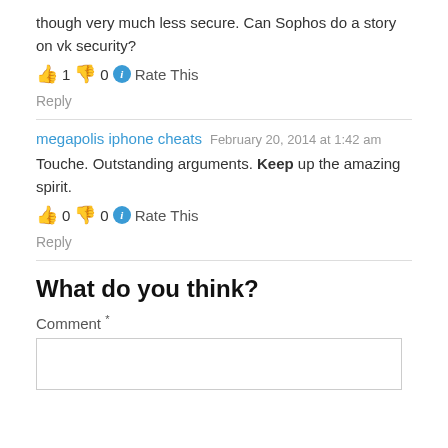though very much less secure. Can Sophos do a story on vk security?
👍 1 👎 0 ℹ Rate This
Reply
megapolis iphone cheats  February 20, 2014 at 1:42 am
Touche. Outstanding arguments. Keep up the amazing spirit.
👍 0 👎 0 ℹ Rate This
Reply
What do you think?
Comment *